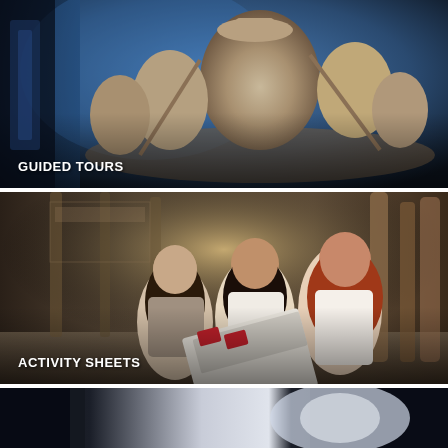[Figure (photo): A clay or stone sculpture featuring multiple figures in a canoe or boat, with one figure wearing a hat, displayed against a blue-lit background. Text overlay reads GUIDED TOURS.]
GUIDED TOURS
[Figure (photo): Three young women with long hair looking down at an activity booklet or pamphlet together, smiling, set inside a museum hall with tall totem poles visible in the background. Text overlay reads ACTIVITY SHEETS.]
ACTIVITY SHEETS
[Figure (photo): Partial view of a dark room with a bright light source on the left side and dark panels on the right, cropped at the bottom of the page.]